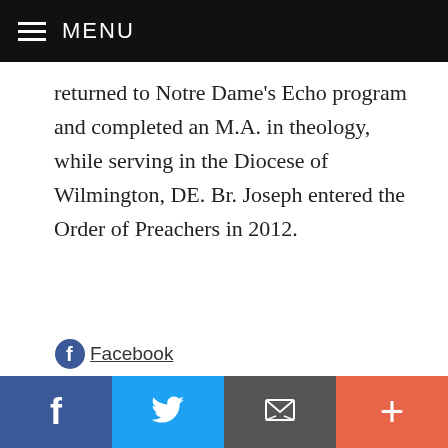MENU
returned to Notre Dame's Echo program and completed an M.A. in theology, while serving in the Diocese of Wilmington, DE. Br. Joseph entered the Order of Preachers in 2012.
Facebook
SUBSCRIBE TO CE (IT'S FREE)
[Figure (infographic): Bottom social share bar with Facebook (blue), Twitter (light blue), Email (dark grey), and Plus/More (orange-red) buttons]